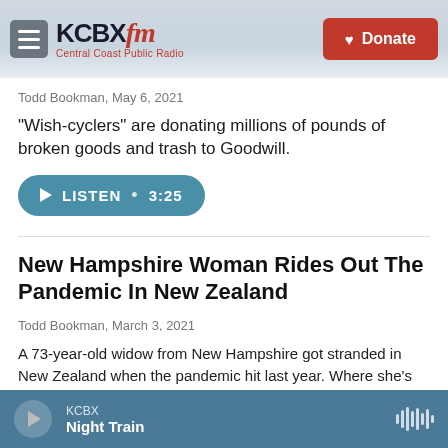KCBX FM Central Coast Public Radio | Donate
Todd Bookman, May 6, 2021
"Wish-cyclers" are donating millions of pounds of broken goods and trash to Goodwill.
LISTEN • 3:25
New Hampshire Woman Rides Out The Pandemic In New Zealand
Todd Bookman, March 3, 2021
A 73-year-old widow from New Hampshire got stranded in New Zealand when the pandemic hit last year. Where she's living now is handling COVID-19 very differently than the United States.
KCBX Night Train